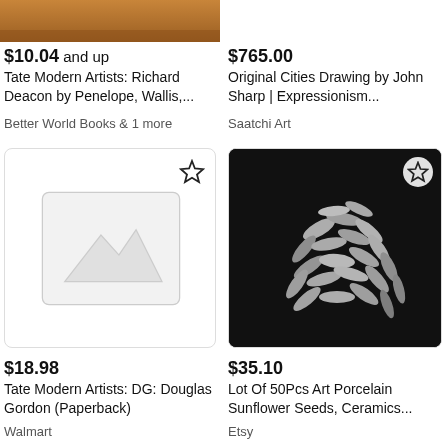[Figure (photo): Partial product image showing warm toned background, top of page]
$10.04 and up
Tate Modern Artists: Richard Deacon by Penelope, Wallis,...
Better World Books & 1 more
$765.00
Original Cities Drawing by John Sharp | Expressionism...
Saatchi Art
[Figure (illustration): Placeholder image icon with mountain scene outline, inside a product card]
[Figure (photo): Black and white photo of art porcelain sunflower seeds scattered on dark background]
$18.98
Tate Modern Artists: DG: Douglas Gordon (Paperback)
Walmart
$35.10
Lot Of 50Pcs Art Porcelain Sunflower Seeds, Ceramics...
Etsy